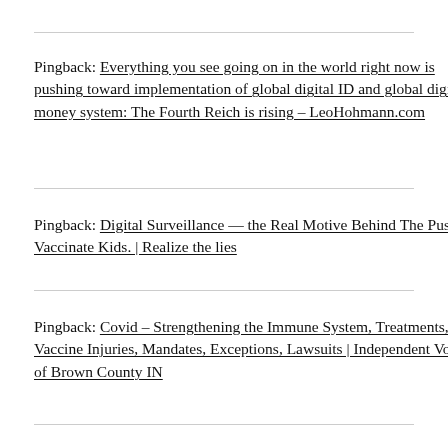Pingback: Everything you see going on in the world right now is pushing toward implementation of global digital ID and global digital money system: The Fourth Reich is rising – LeoHohmann.com
Pingback: Digital Surveillance — the Real Motive Behind The Push to Vaccinate Kids. | Realize the lies
Pingback: Covid – Strengthening the Immune System, Treatments, Vaccine Injuries, Mandates, Exceptions, Lawsuits | Independent Voters of Brown County IN
Pingback: Agenda Weekly Brief – December 5-11 of